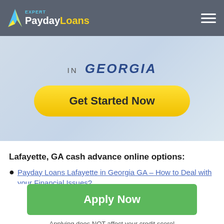EXPERT PaydayLoans
[Figure (screenshot): Hero banner image showing 'IN GEORGIA' text and a yellow 'Get Started Now' button over a light blue/white background with a blurred person holding a phone]
Lafayette, GA cash advance online options:
Payday Loans Lafayette in Georgia GA – How to Deal with your Financial Issues?
[Figure (other): Green 'Apply Now' button]
Applying does NOT affect your credit score!
No credit check to apply.